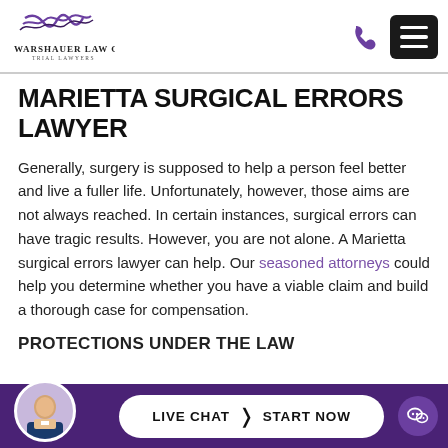[Figure (logo): Warshauer Law Group logo with stylized W and text 'WARSHAUER LAW GROUP, TRIAL LAWYERS']
MARIETTA SURGICAL ERRORS LAWYER
Generally, surgery is supposed to help a person feel better and live a fuller life. Unfortunately, however, those aims are not always reached. In certain instances, surgical errors can have tragic results. However, you are not alone. A Marietta surgical errors lawyer can help. Our seasoned attorneys could help you determine whether you have a viable claim and build a thorough case for compensation.
PROTECTIONS UNDER THE LAW
[Figure (photo): Circular avatar photo of a man in a suit, used as live chat representative image]
LIVE CHAT  START NOW